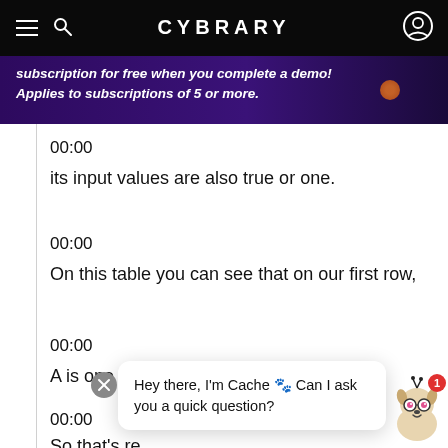CYBRARY
subscription for free when you complete a demo! Applies to subscriptions of 5 or more.
00:00
its input values are also true or one.
00:00
On this table you can see that on our first row,
00:00
A is one and B is one.
00:00
So that's re... 3
Hey there, I'm Cache 🐾 Can I ask you a quick question?